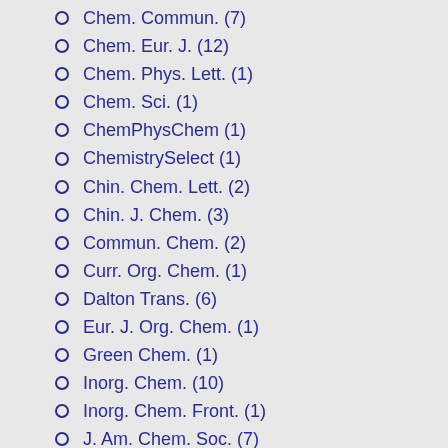Chem. Commun. (7)
Chem. Eur. J. (12)
Chem. Phys. Lett. (1)
Chem. Sci. (1)
ChemPhysChem (1)
ChemistrySelect (1)
Chin. Chem. Lett. (2)
Chin. J. Chem. (3)
Commun. Chem. (2)
Curr. Org. Chem. (1)
Dalton Trans. (6)
Eur. J. Org. Chem. (1)
Green Chem. (1)
Inorg. Chem. (10)
Inorg. Chem. Front. (1)
J. Am. Chem. Soc. (7)
J. Am. Soc. Mass Spectrom. (1)
J. Comput. Chem. (2)
J. Mol. Model. (1)
J. Org. Chem. (9)
J. Organomet. Chem. (3)